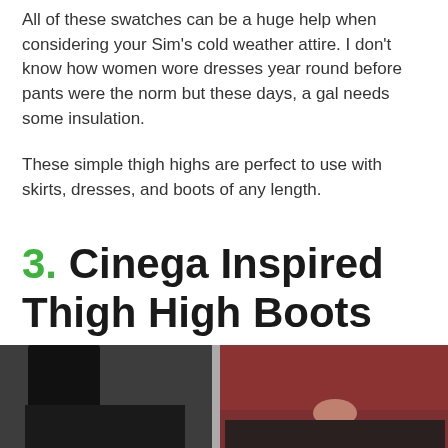All of these swatches can be a huge help when considering your Sim's cold weather attire. I don't know how women wore dresses year round before pants were the norm but these days, a gal needs some insulation.
These simple thigh highs are perfect to use with skirts, dresses, and boots of any length.
3. Cinega Inspired Thigh High Boots
[Figure (photo): Photo of two figures wearing thigh high boots — one in black on the left, one in dark red/burgundy on the right, against a grey background.]